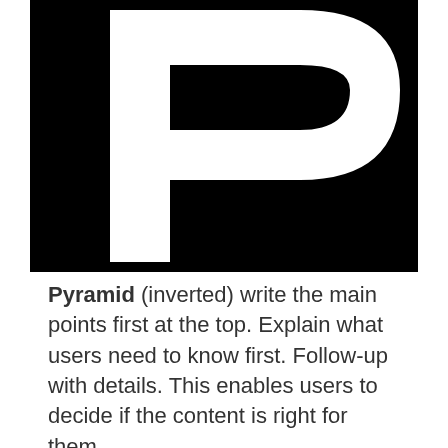[Figure (logo): Large letter P in white on a black background, resembling a logo or symbol for Pyramid concept]
Pyramid (inverted) write the main points first at the top. Explain what users need to know first. Follow-up with details. This enables users to decide if the content is right for them